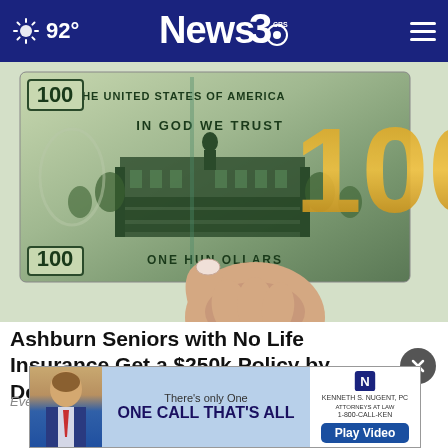92° News 3
[Figure (photo): Close-up photo of a hand holding a US $100 bill showing the back side with Independence Hall, 'IN GOD WE TRUST', 'THE UNITED STATES OF AMERICA', 'ONE HUNDRED DOLLARS' text, and the large gold 100 numeral on the right side.]
Ashburn Seniors with No Life Insurance Get a $250k Policy by Doing This
Everyday Finance
[Figure (photo): Advertisement banner: 'There's only One ONE CALL THAT'S ALL' with Kenneth S. Nugent attorney photo and 'Play Video' button. 1-800-CALL-KEN]